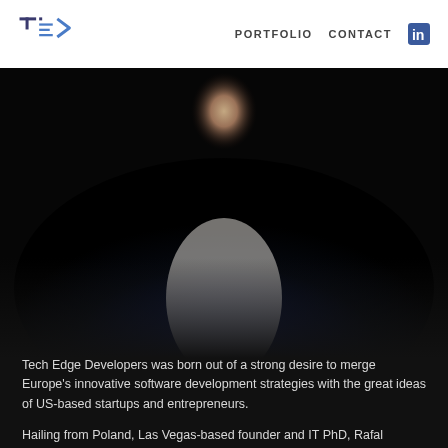TE> PORTFOLIO CONTACT in
[Figure (photo): Professional headshot of a man in a dark navy blue suit jacket with white shirt, photographed against a dark/black background, cropped from chest up]
Tech Edge Developers was born out of a strong desire to merge Europe's innovative software development strategies with the great ideas of US-based startups and entrepreneurs.
Hailing from Poland, Las Vegas-based founder and IT PhD, Rafal Henryk Kartaszynski, was shocked by the limited and expensive software developing solutions available in the US market. For many startups, this price barrier can mean the end their idea journey. By harnessing his professional commercial experience and large network of trusted, world-class developers and agencies in Poland, Rafal has built a one-stop-shop consultancy